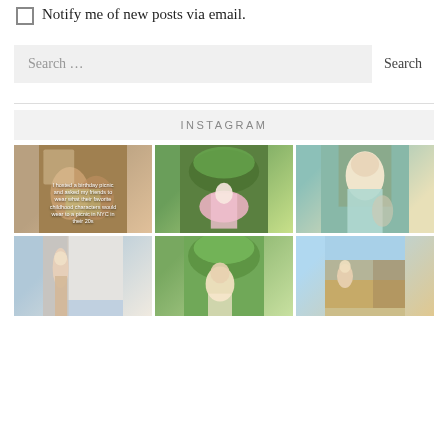Notify me of new posts via email.
Search …
INSTAGRAM
[Figure (photo): Grid of 6 Instagram photos: birthday picnic with friends in a park, outdoor gathering, blonde woman in light blue dress, woman on London street, woman in park, outdoor festival scene]
I hosted a birthday picnic and asked my friends to wear what their favorite childhood characters would wear to a picnic in their 20s